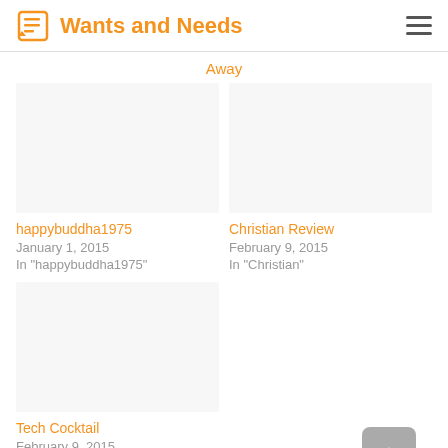Wants and Needs
Away
happybuddha1975
January 1, 2015
In "happybuddha1975"
Christian Review
February 9, 2015
In "Christian"
Tech Cocktail
February 9, 2015
In "Donut"